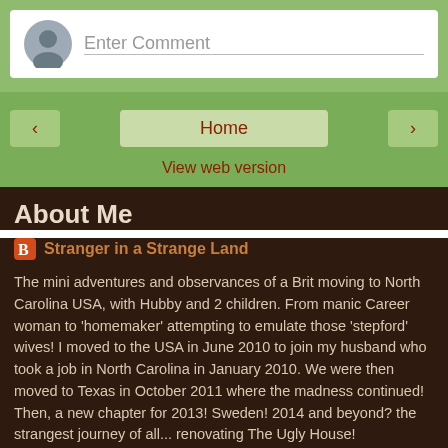Enter Comment
< Home >
View web version
About Me
Stranger in a Strange Land
The mini adventures and observances of a Brit moving to North Carolina USA, with Hubby and 2 children. From manic Career woman to 'homemaker' attempting to emulate those 'stepford' wives! I moved to the USA in June 2010 to join my husband who took a job in North Carolina in January 2010. We were then moved to Texas in October 2011 where the madness continued! Then, a new chapter for 2013! Sweden! 2014 and beyond? the strangest journey of all... renovating The Ugly House!
View my complete profile